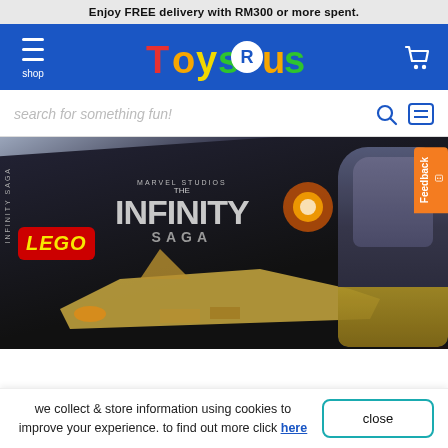Enjoy FREE delivery with RM300 or more spent.
[Figure (logo): Toys R Us logo with colorful letters and star R on blue navigation bar with hamburger menu and shopping cart icon]
search for something fun!
[Figure (photo): LEGO Marvel Studios The Infinity Saga product box showing spacecraft and Thanos]
[Figure (other): Feedback tab button in orange on right side]
we collect & store information using cookies to improve your experience. to find out more click here